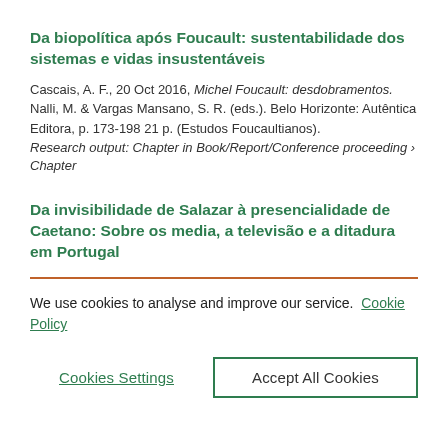Da biopolítica após Foucault: sustentabilidade dos sistemas e vidas insustentáveis
Cascais, A. F., 20 Oct 2016, Michel Foucault: desdobramentos. Nalli, M. & Vargas Mansano, S. R. (eds.). Belo Horizonte: Autêntica Editora, p. 173-198 21 p. (Estudos Foucaultianos). Research output: Chapter in Book/Report/Conference proceeding › Chapter
Da invisibilidade de Salazar à presencialidade de Caetano: Sobre os media, a televisão e a ditadura em Portugal
We use cookies to analyse and improve our service.  Cookie Policy
Cookies Settings     Accept All Cookies